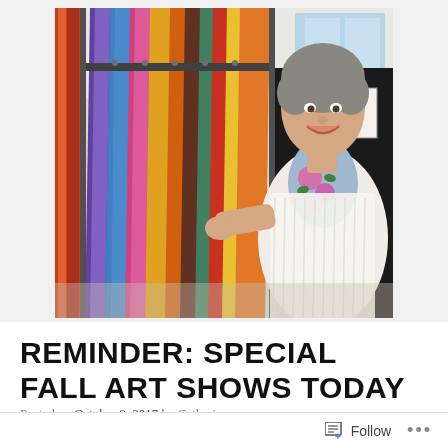[Figure (photo): A smiling woman with short grey hair wearing a white knit cardigan and a floral scarf with pink roses on blue background, standing next to a rack of colorful silk scarves/fabric at an art show booth. A sign reading 'FUR POUND STUDIO' is visible in the background.]
REMINDER: SPECIAL FALL ART SHOWS TODAY
Posted on October 8, 2017 by Catherine
Follow ...